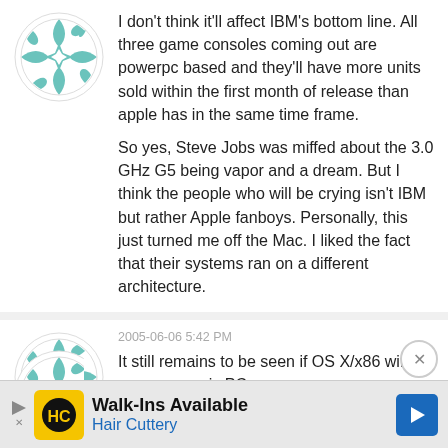I don't think it'll affect IBM's bottom line. All three game consoles coming out are powerpc based and they'll have more units sold within the first month of release than apple has in the same time frame.

So yes, Steve Jobs was miffed about the 3.0 GHz G5 being vapor and a dream. But I think the people who will be crying isn't IBM but rather Apple fanboys. Personally, this just turned me off the Mac. I liked the fact that their systems ran on a different architecture.
2005-06-06 5:42 PM
It still remains to be seen if OS X/x86 will run on generic PCs.
[Figure (advertisement): Hair Cuttery Walk-Ins Available advertisement banner]